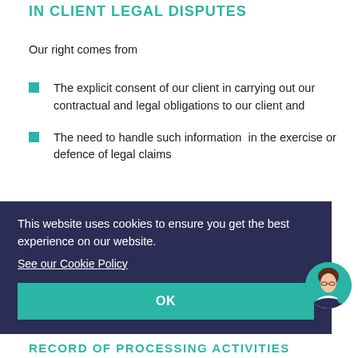IN CLIENT LEGAL DISPUTES
Our right comes from
The explicit consent of our client in carrying out our contractual and legal obligations to our client and
The need to handle such information  in the exercise or defence of legal claims
This website uses cookies to ensure you get the best experience on our website.
See our Cookie Policy
OK
RECORD OF PROCESSING ACTIVITIES